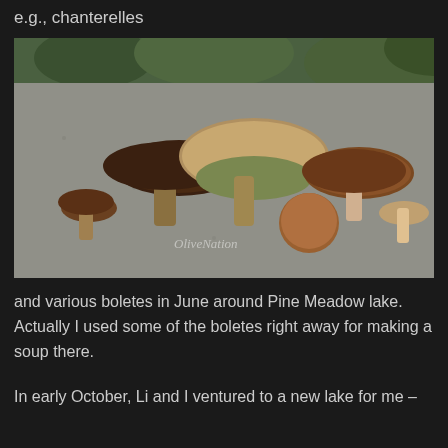e.g., chanterelles
[Figure (photo): A group of brown boletes mushrooms arranged on a granite rock surface with green grass visible in the background. A watermark reads 'OliveNation' in the lower center of the image.]
and various boletes in June around Pine Meadow lake. Actually I used some of the boletes right away for making a soup there.
In early October, Li and I ventured to a new lake for me –